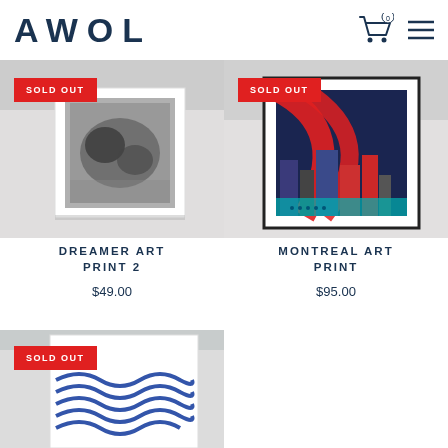[Figure (logo): AWOL logo in dark navy bold wide-spaced lettering]
[Figure (screenshot): Shopping cart icon with badge showing 0 and hamburger menu icon]
[Figure (photo): Dreamer Art Print 2 - framed black and white art print photograph on light grey background with SOLD OUT badge]
DREAMER ART PRINT 2
$49.00
[Figure (photo): Montreal Art Print - framed colorful city collage art print with navy, red and teal colors on light background with SOLD OUT badge]
MONTREAL ART PRINT
$95.00
[Figure (photo): Third art print partially visible at bottom left with SOLD OUT badge - shows blue wave pattern print]